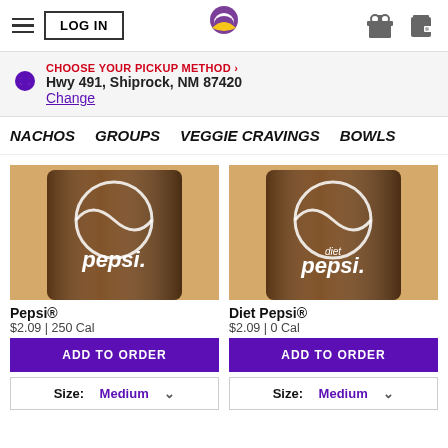LOG IN | Taco Bell | Gift | Wallet
CHOOSE YOUR PICKUP METHOD › Hwy 491, Shiprock, NM 87420 Change
NACHOS   GROUPS   VEGGIE CRAVINGS   BOWLS
[Figure (photo): Pepsi cup with ice]
Pepsi®
$2.09 | 250 Cal
ADD TO ORDER
Size: Medium
[Figure (photo): Diet Pepsi cup with ice]
Diet Pepsi®
$2.09 | 0 Cal
ADD TO ORDER
Size: Medium